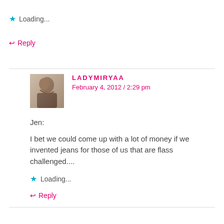★ Loading...
↩ Reply
LADYMIRYAA — February 4, 2012 / 2:29 pm
Jen:

I bet we could come up with a lot of money if we invented jeans for those of us that are flass challenged....
★ Loading...
↩ Reply